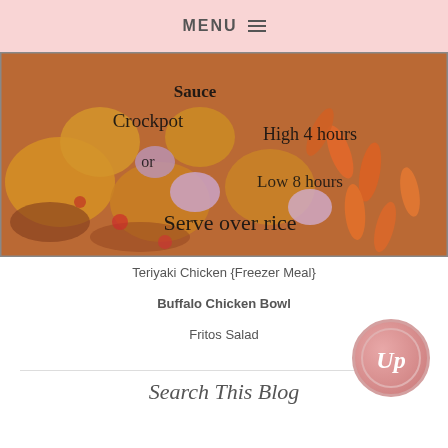MENU
[Figure (photo): A clear plastic freezer bag containing raw chicken, carrots, pineapple chunks, and onions in a teriyaki sauce. Handwritten text on the bag reads: 'Crockpot, High 4 hours, or Low 8 hours, Serve over rice']
Teriyaki Chicken {Freezer Meal}
Buffalo Chicken Bowl
Fritos Salad
[Figure (logo): Round pink/salmon colored logo with cursive 'Up' text]
Search This Blog